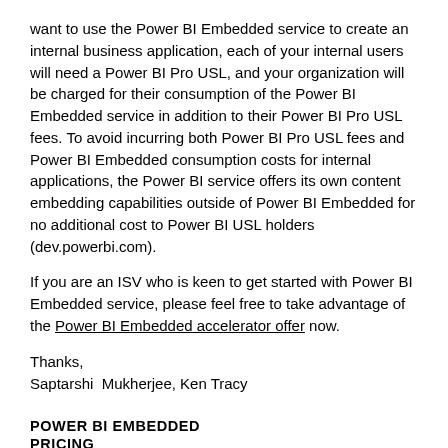want to use the Power BI Embedded service to create an internal business application, each of your internal users will need a Power BI Pro USL, and your organization will be charged for their consumption of the Power BI Embedded service in addition to their Power BI Pro USL fees. To avoid incurring both Power BI Pro USL fees and Power BI Embedded consumption costs for internal applications, the Power BI service offers its own content embedding capabilities outside of Power BI Embedded for no additional cost to Power BI USL holders (dev.powerbi.com).
If you are an ISV who is keen to get started with Power BI Embedded service, please feel free to take advantage of the Power BI Embedded accelerator offer now.
Thanks,
Saptarshi  Mukherjee, Ken Tracy
POWER BI EMBEDDED
PRICING